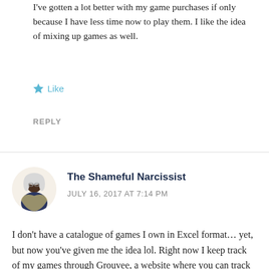I've gotten a lot better with my game purchases if only because I have less time now to play them. I like the idea of mixing up games as well.
★ Like
REPLY
The Shameful Narcissist
JULY 16, 2017 AT 7:14 PM
I don't have a catalogue of games I own in Excel format… yet, but now you've given me the idea lol. Right now I keep track of my games through Grouvee, a website where you can track your backlog and whatnot. It's very useful, but I wish there was an app. You can indicate which